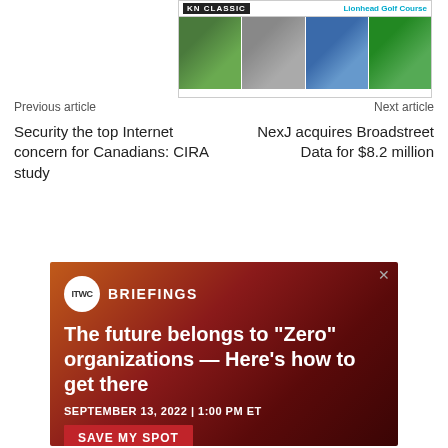[Figure (photo): Top banner advertisement for KN Classic at Lionhead Golf Course showing four outdoor/nature photos]
Previous article
Next article
Security the top Internet concern for Canadians: CIRA study
NexJ acquires Broadstreet Data for $8.2 million
[Figure (other): ITWC Briefings advertisement: The future belongs to "Zero" organizations — Here's how to get there. September 13, 2022 | 1:00 PM ET. Save My Spot button.]